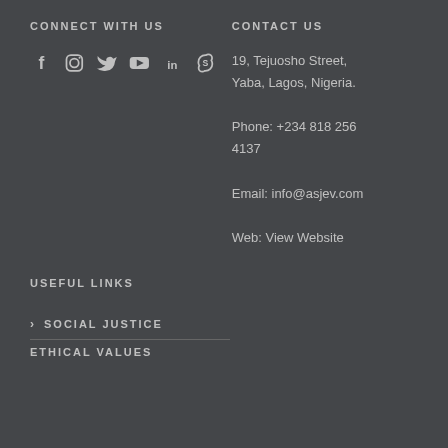CONNECT WITH US
[Figure (illustration): Row of social media icons: Facebook, Instagram, Twitter, YouTube, LinkedIn, Skype]
CONTACT US
19, Tejuosho Street, Yaba, Lagos, Nigeria.
Phone: +234 818 256 4137
Email: info@asjev.com
Web: View Website
USEFUL LINKS
SOCIAL JUSTICE
ETHICAL VALUES